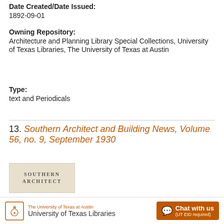Date Created/Date Issued:
1892-09-01
Owning Repository:
Architecture and Planning Library Special Collections, University of Texas Libraries, The University of Texas at Austin
Type:
text and Periodicals
13. Southern Architect and Building News, Volume 56, no. 9, September 1930
[Figure (photo): Thumbnail image showing the cover of Southern Architect publication with text SOUTHERN ARCHITECT]
The University of Texas at Austin University of Texas Libraries  Chat with us (UT EID required)